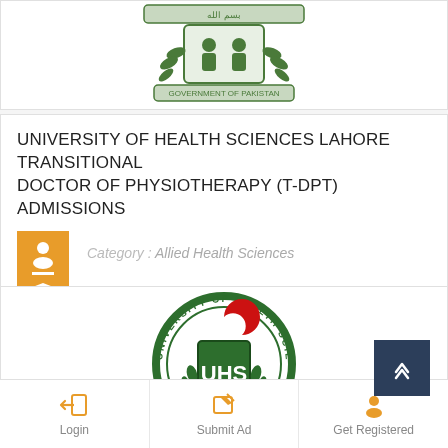[Figure (logo): Pakistan government emblem/crest in green, partial top crop]
UNIVERSITY OF HEALTH SCIENCES LAHORE TRANSITIONAL DOCTOR OF PHYSIOTHERAPY (T-DPT) ADMISSIONS
Category : Allied Health Sciences
[Figure (logo): University of Health Sciences Lahore circular logo with UHS shield and red crescent]
Login   Submit Ad   Get Registered